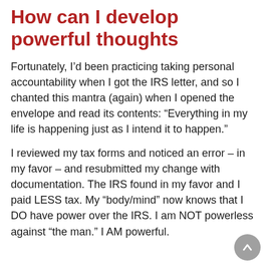How can I develop powerful thoughts
Fortunately, I’d been practicing taking personal accountability when I got the IRS letter, and so I chanted this mantra (again) when I opened the envelope and read its contents: “Everything in my life is happening just as I intend it to happen.”
I reviewed my tax forms and noticed an error – in my favor – and resubmitted my change with documentation. The IRS found in my favor and I paid LESS tax. My “body/mind” now knows that I DO have power over the IRS. I am NOT powerless against “the man.” I AM powerful.